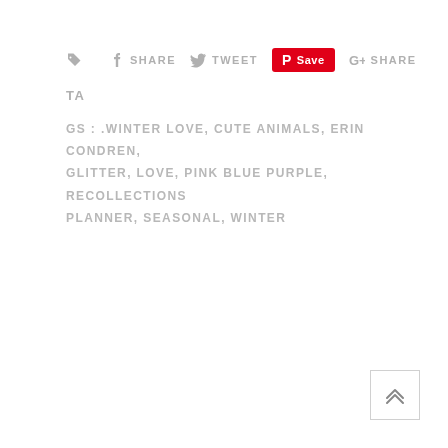SHARE  TWEET  Save  SHARE
TA
GS : .WINTER LOVE, CUTE ANIMALS, ERIN CONDREN, GLITTER, LOVE, PINK BLUE PURPLE, RECOLLECTIONS PLANNER, SEASONAL, WINTER
[Figure (other): Back to top button with double chevron up arrow]